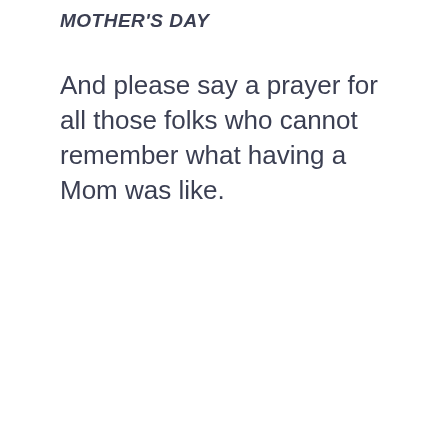MOTHER'S DAY
And please say a prayer for all those folks who cannot remember what having a Mom was like.